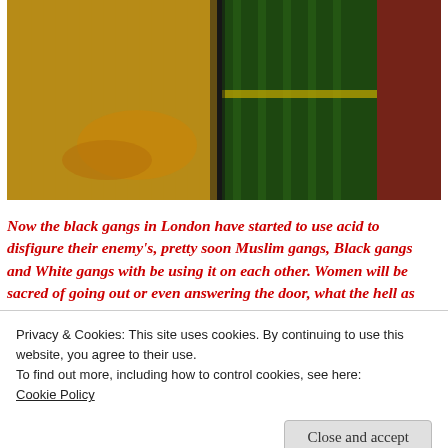[Figure (photo): Photograph showing people wearing colorful traditional garments — yellow/orange fabric on the left and dark green striped fabric on the right, with red clothing visible in the background.]
Now the black gangs in London have started to use acid to disfigure their enemy's, pretty soon Muslim gangs, Black gangs and White gangs with be using it on each other. Women will be sacred of going out or even answering the door, what the hell as happened to our country, but it's not just
Privacy & Cookies: This site uses cookies. By continuing to use this website, you agree to their use.
To find out more, including how to control cookies, see here:
Cookie Policy
Close and accept